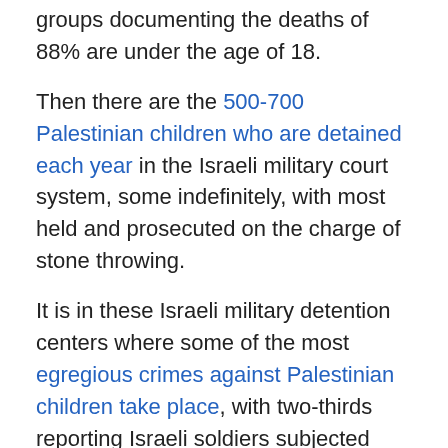groups documenting the deaths of 88% are under the age of 18.
Then there are the 500-700 Palestinian children who are detained each year in the Israeli military court system, some indefinitely, with most held and prosecuted on the charge of stone throwing.
It is in these Israeli military detention centers where some of the most egregious crimes against Palestinian children take place, with two-thirds reporting Israeli soldiers subjected them to violence and physical abuse.
Several years ago, UNICEF published a report that documented Israel's systematic and systemic abuse of detained Palestinian children, concluding that "the ill-treatment of children who come in contact with the military detention system appears to be widespread, systematic